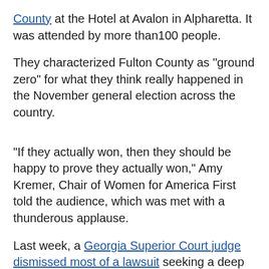County at the Hotel at Avalon in Alpharetta. It was attended by more than100 people.
They characterized Fulton County as "ground zero" for what they think really happened in the November general election across the country.
"If they actually won, then they should be happy to prove they actually won," Amy Kremer, Chair of Women for America First told the audience, which was met with a thunderous applause.
Last week, a Georgia Superior Court judge dismissed most of a lawsuit seeking a deep inspection of 147,000 ballots in Fulton County. That ruling all but eliminates the possibility for an in-person review of absentee